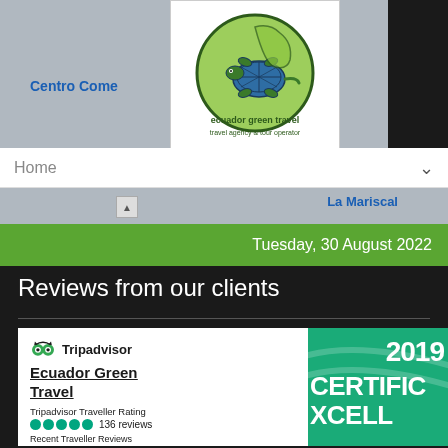[Figure (screenshot): Map background showing city area with 'Centro Come' and 'Ec' text visible]
[Figure (logo): Ecuador Green Travel logo - circular green logo with tortoise illustration and text 'ecuador green travel' and 'travel agency & tour operator']
Home
[Figure (screenshot): Map strip showing 'La Mariscal' area text]
Tuesday, 30 August 2022
Reviews from our clients
[Figure (screenshot): Tripadvisor widget showing Ecuador Green Travel with 5 green circles rating, 136 reviews, recent reviews including 'Amazing Trip to Ecuador -- Mainland and...' and 'Great Experience', alongside 2019 Certificate of Excellence green panel]